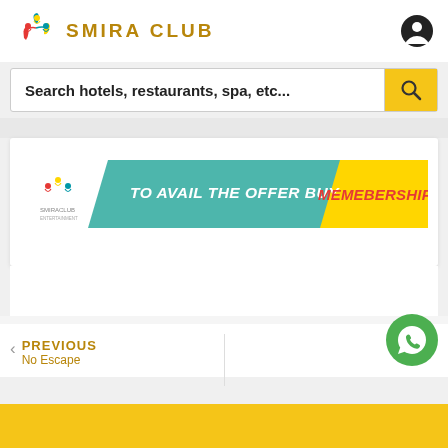[Figure (logo): Smira Club logo with colorful human figures and text SMIRA CLUB in gold/brown letters]
Search hotels, restaurants, spa, etc...
[Figure (infographic): Smira Club promotional banner: TO AVAIL THE OFFER BUY MEMBERSHIP on teal and yellow background]
PREVIOUS
No Escape
[Figure (logo): WhatsApp green circle button with phone icon]